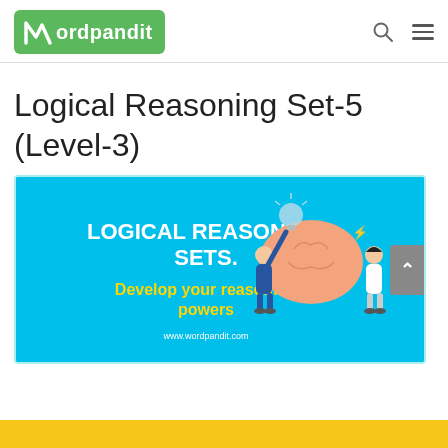wordpandit
Logical Reasoning Set-5 (Level-3)
[Figure (illustration): Blue banner image with text 'LOGICAL REASONING SETS.' in bold white, 'Develop your reasoning powers' in yellow, 'www.wordpandit.com' in white, and cartoon figures of two people holding a large brain with a lightbulb above.]
Loading [MathJax]/extensions/Safe.js